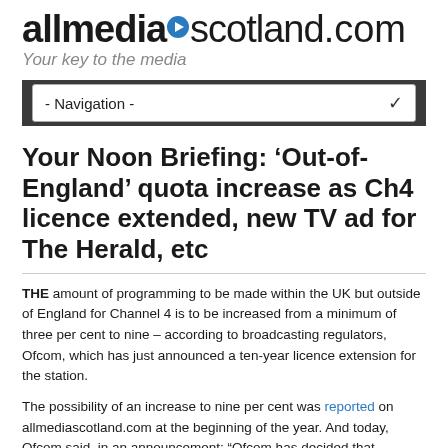allmediascotland.com — Your key to the media
Your Noon Briefing: ‘Out-of-England’ quota increase as Ch4 licence extended, new TV ad for The Herald, etc
THE amount of programming to be made within the UK but outside of England for Channel 4 is to be increased from a minimum of three per cent to nine – according to broadcasting regulators, Ofcom, which has just announced a ten-year licence extension for the station.
The possibility of an increase to nine per cent was reported on allmediascotland.com at the beginning of the year. And today, Ofcom said, in an announcement: “Ofcom has decided that Channel 4’s quota for programmes produced outside of England (in Scotland, Wales and